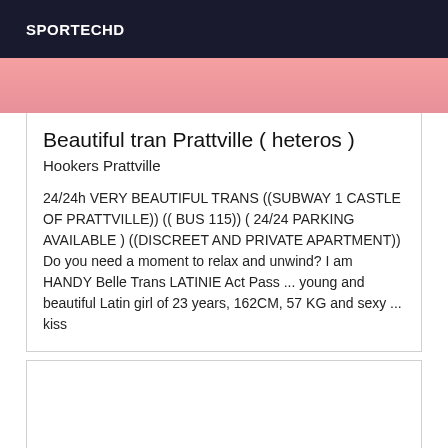SPORTECHD
[Figure (photo): Pink/skin-tone colored image strip at top of card]
Beautiful tran Prattville ( heteros )
Hookers Prattville
24/24h VERY BEAUTIFUL TRANS ((SUBWAY 1 CASTLE OF PRATTVILLE)) (( BUS 115)) ( 24/24 PARKING AVAILABLE ) ((DISCREET AND PRIVATE APARTMENT)) Do you need a moment to relax and unwind? I am HANDY Belle Trans LATINIE Act Pass ... young and beautiful Latin girl of 23 years, 162CM, 57 KG and sexy ... kiss